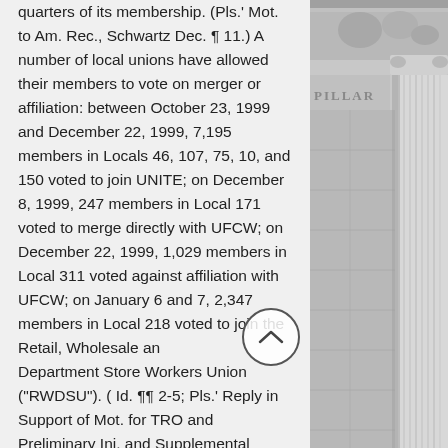quarters of its membership. (Pls.' Mot. to Am. Rec., Schwartz Dec. ¶ 11.) A number of local unions have allowed their members to vote on merger or affiliation: between October 23, 1999 and December 22, 1999, 7,195 members in Locals 46, 107, 75, 10, and 150 voted to join UNITE; on December 8, 1999, 247 members in Local 171 voted to merge directly with UFCW; on December 22, 1999, 1,029 members in Local 311 voted against affiliation with UFCW; on January 6 and 7, 2,347 members in Local 218 voted to join the Retail, Wholesale and Department Store Workers Union ("RWDSU"). ( Id. ¶¶ 2-5; Pls.' Reply in Support of Mot. for TRO and Preliminary Inj. and Supplemental Memo of Law, at 7.) Members of Local 1 voted to adopt an
[Figure (photo): Black and white photograph of a classical stone building facade with large Corinthian columns and a pillar inscription partially visible reading 'PILLAR']